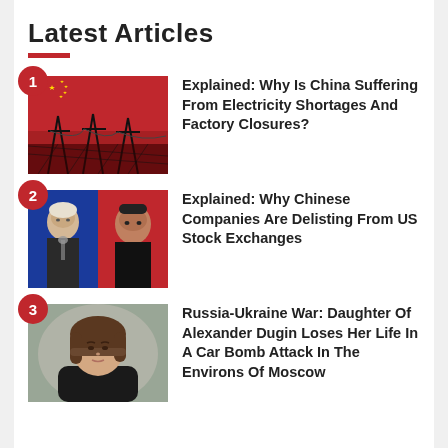Latest Articles
[Figure (photo): Red background with power lines and Chinese flag stars overlay]
Explained: Why Is China Suffering From Electricity Shortages And Factory Closures?
[Figure (photo): Split image: Biden on blue background left, Xi Jinping on red background right]
Explained: Why Chinese Companies Are Delisting From US Stock Exchanges
[Figure (photo): Young brown-haired woman against blurred background]
Russia-Ukraine War: Daughter Of Alexander Dugin Loses Her Life In A Car Bomb Attack In The Environs Of Moscow